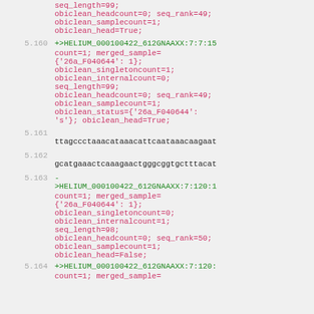seq_length=99; obiclean_headcount=0; seq_rank=49; obiclean_samplecount=1; obiclean_head=True;
5.160 +>HELIUM_000100422_612GNAAXX:7:7:15... count=1; merged_sample= {'26a_F040644': 1}; obiclean_singletoncount=1; obiclean_internalcount=0; seq_length=99; obiclean_headcount=0; seq_rank=49; obiclean_samplecount=1; obiclean_status={'26a_F040644': 's'}; obiclean_head=True;
5.161   ttagccctaaacataaacattcaataaacaagaat...
5.162   gcatgaaactcaaagaactgggcggtgctttacat...
5.163 - >HELIUM_000100422_612GNAAXX:7:120:1... count=1; merged_sample= {'26a_F040644': 1}; obiclean_singletoncount=0; obiclean_internalcount=1; seq_length=98; obiclean_headcount=0; seq_rank=50; obiclean_samplecount=1; obiclean_head=False;
5.164 +>HELIUM_000100422_612GNAAXX:7:120:... count=1; merged_sample=